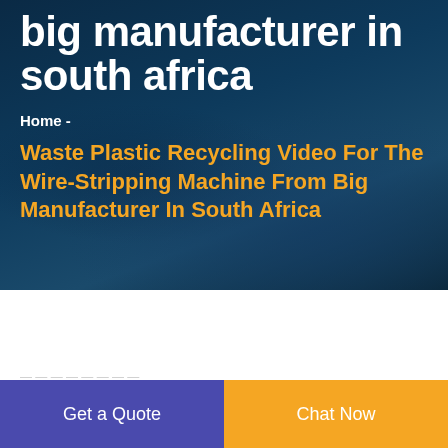big manufacturer in south africa
Home -
Waste Plastic Recycling Video For The Wire-Stripping Machine From Big Manufacturer In South Africa
Get a Quote
Chat Now